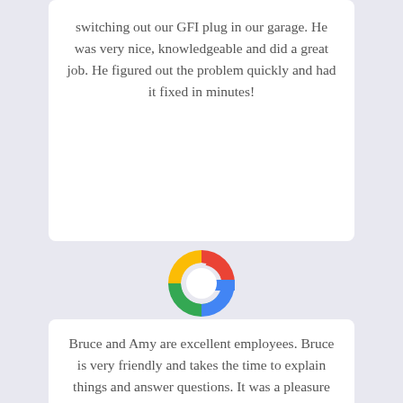switching out our GFI plug in our garage. He was very nice, knowledgeable and did a great job. He figured out the problem quickly and had it fixed in minutes!
[Figure (logo): Google 'G' logo in red, yellow, green, and blue colors]
★ ★ ★ ★ ★
Janelle Nielsen
Bruce and Amy are excellent employees. Bruce is very friendly and takes the time to explain things and answer questions. It was a pleasure having them both in our house.